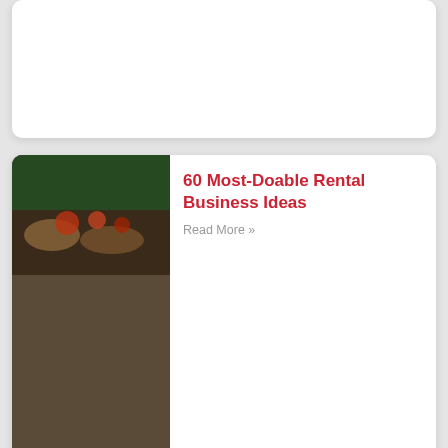[Figure (screenshot): Partial card at top of page, white background, no visible image content]
60 Most-Doable Rental Business Ideas
Read More »
[Figure (photo): Thumbnail image of people on a boat or watercraft with colorful decorations]
Cool Cat Boat Tours in Tavares-Mount Dora
Read More »
[Figure (photo): Thumbnail image of person on water with flamingo float near trees]
Why is Everyone Flocking to Mount Dora Boat Rentals
Read More »